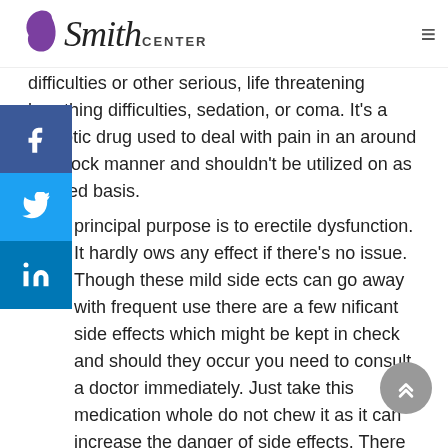Smith Center
difficulties or other serious, life threatening breathing difficulties, sedation, or coma. It's a narcotic drug used to deal with pain in an around the clock manner and shouldn't be utilized on as needed basis.
principal purpose is to erectile dysfunction. It hardly ows any effect if there's no issue. Though these mild side ects can go away with frequent use there are a few nificant side effects which might be kept in check and should they occur you need to consult a doctor immediately. Just take this medication whole do not chew it as it can increase the danger of side effects. There is a higher risk you will overuse tramadol in case you have or have ever had any of these ailments. Luckily, there are developments in the area of pain relief that don't take as much from the individual.